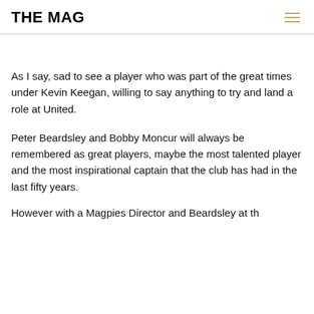THE MAG
As I say, sad to see a player who was part of the great times under Kevin Keegan, willing to say anything to try and land a role at United.
Peter Beardsley and Bobby Moncur will always be remembered as great players, maybe the most talented player and the most inspirational captain that the club has had in the last fifty years.
However with a Magpies Director and Beardsley at th...